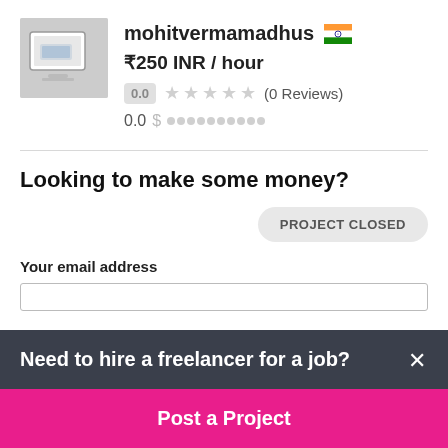[Figure (photo): Profile photo of a laptop on a desk, thumbnail image]
mohitvermamadhus 🇮🇳
₹250 INR / hour
0.0 ★★★★★ (0 Reviews)
0.0 $ ●●●●●●●●●●
Looking to make some money?
PROJECT CLOSED
Your email address
Need to hire a freelancer for a job?
Post a Project